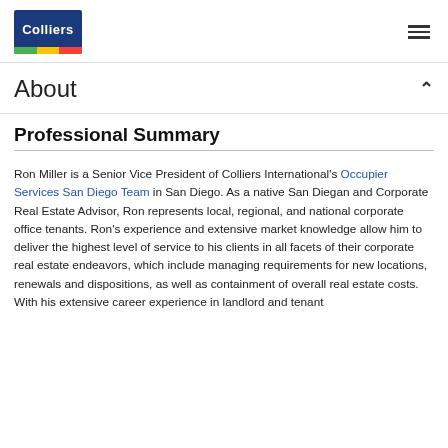Colliers [logo] [hamburger menu]
About
Professional Summary
Ron Miller is a Senior Vice President of Colliers International's Occupier Services San Diego Team in San Diego. As a native San Diegan and Corporate Real Estate Advisor, Ron represents local, regional, and national corporate office tenants. Ron's experience and extensive market knowledge allow him to deliver the highest level of service to his clients in all facets of their corporate real estate endeavors, which include managing requirements for new locations, renewals and dispositions, as well as containment of overall real estate costs. With his extensive career experience in landlord and tenant